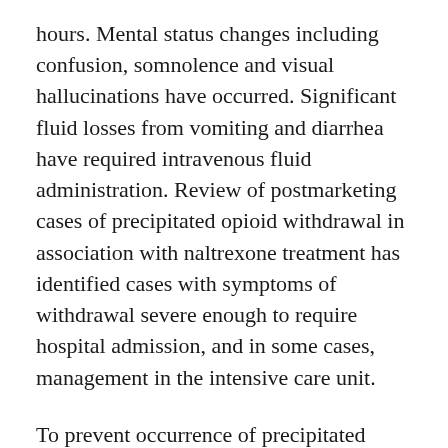hours. Mental status changes including confusion, somnolence and visual hallucinations have occurred. Significant fluid losses from vomiting and diarrhea have required intravenous fluid administration. Review of postmarketing cases of precipitated opioid withdrawal in association with naltrexone treatment has identified cases with symptoms of withdrawal severe enough to require hospital admission, and in some cases, management in the intensive care unit.
To prevent occurrence of precipitated withdrawal in patients dependent on opioids, or exacerbation of a pre-existing subclinical withdrawal syndrome, opioid-dependent